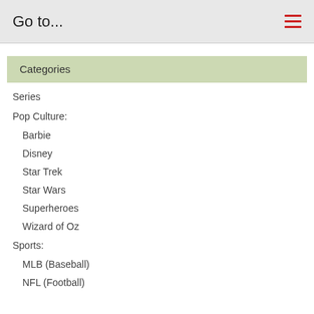Go to...
Categories
Series
Pop Culture:
Barbie
Disney
Star Trek
Star Wars
Superheroes
Wizard of Oz
Sports:
MLB (Baseball)
NFL (Football)